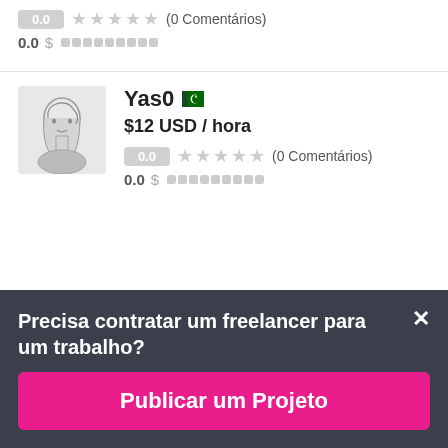0.0 ★★★★★ (0 Comentários)
0.0 $ ▓▓▓▓▓▓▓▓▓
[Figure (photo): Avatar sketch of a person's profile in pencil/charcoal drawing style]
Yas0 🇵🇰
$12 USD / hora
0.0 ★★★★★ (0 Comentários)
0.0 $ ▓▓▓▓▓▓▓▓▓
Precisa contratar um freelancer para um trabalho?
Publicar um Projeto